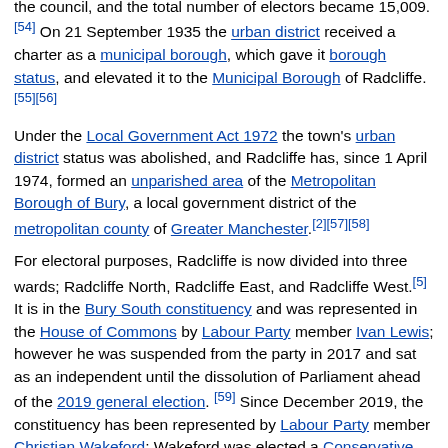the council, and the total number of electors became 15,009.[54] On 21 September 1935 the urban district received a charter as a municipal borough, which gave it borough status, and elevated it to the Municipal Borough of Radcliffe.[55][56]
Under the Local Government Act 1972 the town's urban district status was abolished, and Radcliffe has, since 1 April 1974, formed an unparished area of the Metropolitan Borough of Bury, a local government district of the metropolitan county of Greater Manchester.[2][57][58]
For electoral purposes, Radcliffe is now divided into three wards; Radcliffe North, Radcliffe East, and Radcliffe West.[5] It is in the Bury South constituency and was represented in the House of Commons by Labour Party member Ivan Lewis; however he was suspended from the party in 2017 and sat as an independent until the dissolution of Parliament ahead of the 2019 general election.[59] Since December 2019, the constituency has been represented by Labour Party member Christian Wakeford; Wakeford was elected a Conservative, but defected to Labour in January 2022.
Geography